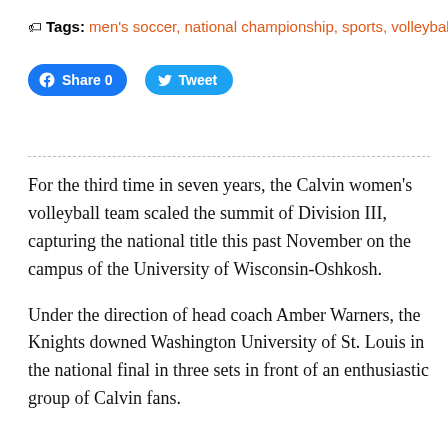🏷 Tags: men's soccer, national championship, sports, volleyball
[Figure (other): Facebook Share button (blue pill, Share 0) and Twitter Tweet button (blue pill, Tweet)]
For the third time in seven years, the Calvin women's volleyball team scaled the summit of Division III, capturing the national title this past November on the campus of the University of Wisconsin-Oshkosh.
Under the direction of head coach Amber Warners, the Knights downed Washington University of St. Louis in the national final in three sets in front of an enthusiastic group of Calvin fans.